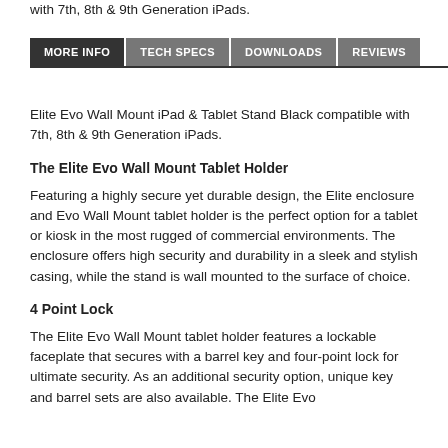with 7th, 8th & 9th Generation iPads.
MORE INFO | TECH SPECS | DOWNLOADS | REVIEWS
Elite Evo Wall Mount iPad & Tablet Stand Black compatible with 7th, 8th & 9th Generation iPads.
The Elite Evo Wall Mount Tablet Holder
Featuring a highly secure yet durable design, the Elite enclosure and Evo Wall Mount tablet holder is the perfect option for a tablet or kiosk in the most rugged of commercial environments. The enclosure offers high security and durability in a sleek and stylish casing, while the stand is wall mounted to the surface of choice.
4 Point Lock
The Elite Evo Wall Mount tablet holder features a lockable faceplate that secures with a barrel key and four-point lock for ultimate security. As an additional security option, unique key and barrel sets are also available. The Elite Evo